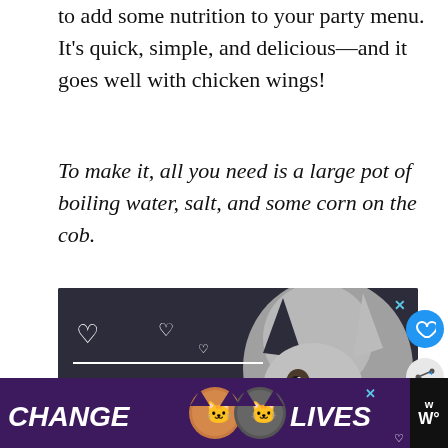to add some nutrition to your party menu. It's quick, simple, and delicious—and it goes well with chicken wings!
To make it, all you need is a large pot of boiling water, salt, and some corn on the cob.
[Figure (other): Advertisement banner with dark background showing a Husky dog and text 'LET'S BE' with hearts, promoting 'Change Lives' pet adoption campaign with cat photos at bottom]